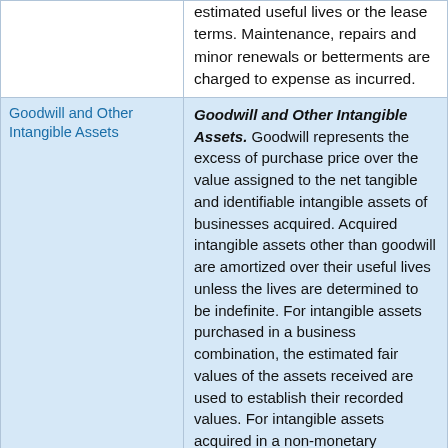estimated useful lives or the lease terms. Maintenance, repairs and minor renewals or betterments are charged to expense as incurred.
Goodwill and Other Intangible Assets
Goodwill and Other Intangible Assets. Goodwill represents the excess of purchase price over the value assigned to the net tangible and identifiable intangible assets of businesses acquired. Acquired intangible assets other than goodwill are amortized over their useful lives unless the lives are determined to be indefinite. For intangible assets purchased in a business combination, the estimated fair values of the assets received are used to establish their recorded values. For intangible assets acquired in a non-monetary exchange, the estimated fair values of the assets transferred (or the